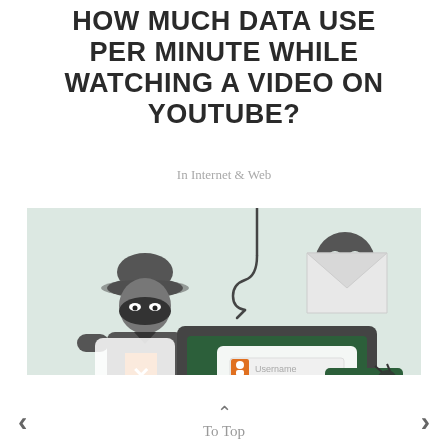HOW MUCH DATA USE PER MINUTE WHILE WATCHING A VIDEO ON YOUTUBE?
In Internet & Web
[Figure (illustration): Cybersecurity themed illustration showing a hacker figure in dark hat and mask behind a computer monitor, with phishing hook, skull icon on envelope, warning triangle, shield with X, green padlock with key, credit card with bug, and a login form with Username, password dots, and orange Login button.]
< To Top >